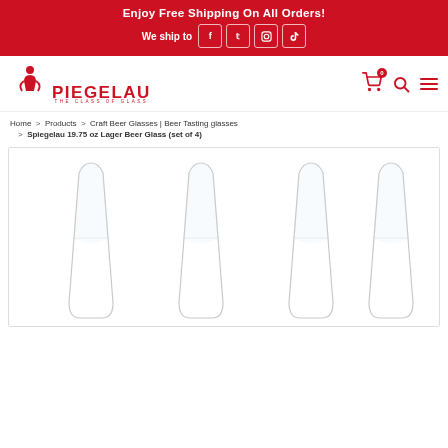Enjoy Free Shipping On All Orders!
We ship to
[Figure (logo): Spiegelau logo — red text with tagline THE CLASS OF GLASS]
Home > Products > Craft Beer Glasses | Beer Tasting glasses > Spiegelau 19.75 oz Lager Beer Glass (set of 4)
[Figure (photo): Four clear Spiegelau lager beer glasses shown side by side in a product photo]